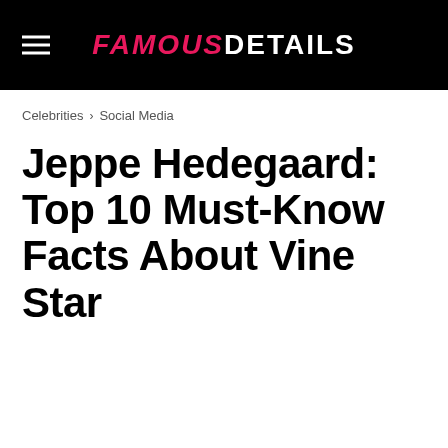FAMOUS DETAILS
Celebrities › Social Media
Jeppe Hedegaard: Top 10 Must-Know Facts About Vine Star